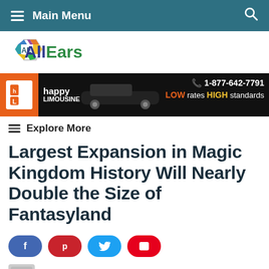Main Menu
[Figure (logo): AllEars website logo with hexagonal AE icon and AllEars text]
[Figure (infographic): Happy Limousine advertisement banner: phone 1-877-642-7791, LOW rates HIGH standards, black limousine image]
Explore More
Largest Expansion in Magic Kingdom History Will Nearly Double the Size of Fantasyland
[Figure (infographic): Social share buttons row: Facebook (blue), Pinterest (red), Twitter (blue), Flipboard (red)]
By AllEars